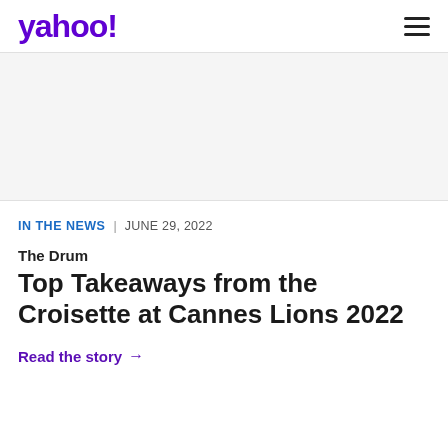yahoo!
[Figure (other): Advertisement banner placeholder (gray background)]
IN THE NEWS | JUNE 29, 2022
The Drum
Top Takeaways from the Croisette at Cannes Lions 2022
Read the story →